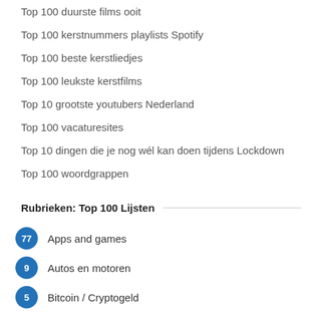Top 100 duurste films ooit
Top 100 kerstnummers playlists Spotify
Top 100 beste kerstliedjes
Top 100 leukste kerstfilms
Top 10 grootste youtubers Nederland
Top 100 vacaturesites
Top 10 dingen die je nog wél kan doen tijdens Lockdown
Top 100 woordgrappen
Rubrieken: Top 100 Lijsten
77  Apps and games
9  Autos en motoren
5  Bitcoin / Cryptogeld
11  Dance
Film